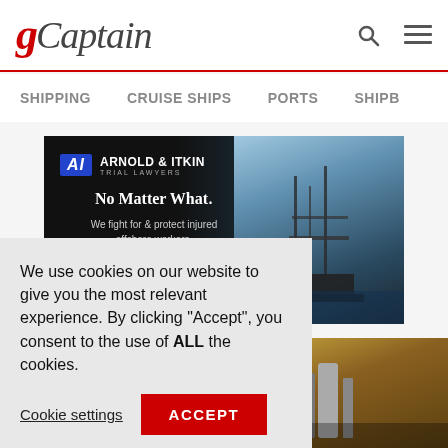gCaptain
SHIPPING   CRUISE SHIPS   PORTS   SHIPB
[Figure (photo): Arnold & Itkin Trial Lawyers advertisement banner. Shows logo with blue AI letters, text 'No Matter What. We fight for & protect injured offshore workers.' with an offshore oil rig at sunset on the right side.]
We use cookies on our website to give you the most relevant experience. By clicking “Accept”, you consent to the use of ALL the cookies.
Cookie settings   ACCEPT